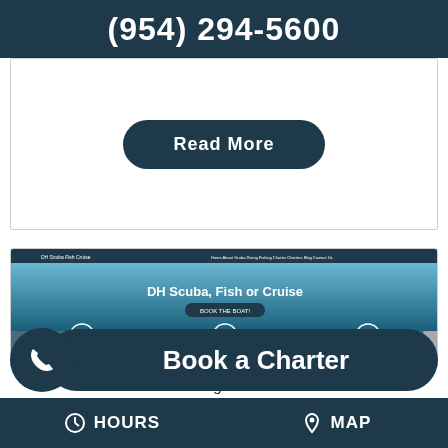(954) 294-5600
Read More
[Figure (screenshot): Screenshot of DH Scuba, Fish or Cruise website showing navigation bar, hero image with ocean background and text 'DH Scuba, Fish or Cruise', a 'Book the Boat' button, and three service cards: Scuba Diving, Fishing, and Cruise Charters]
Book a Charter
We've been working on a new site for the
HOURS    MAP